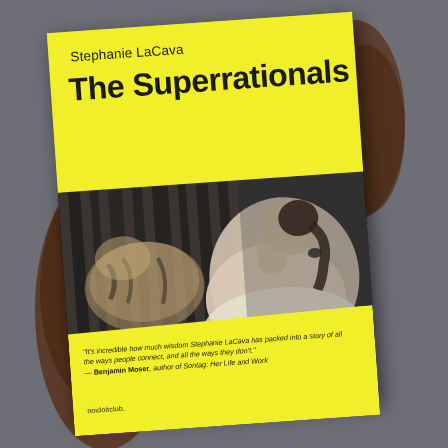[Figure (photo): A photograph of a book cover being held up by hands. The book is 'The Superrationals' by Stephanie LaCava, published by noidoitclub. The cover has a yellow top section with the author name and title, a black and white photograph in the middle showing a woman with a ponytail looking at a tiger in a cage, and a yellow bottom flap with a blurb quote from Benjamin Moser.]
Stephanie LaCava
The Superrationals
"It's incredible how much wisdom Stephanie LaCava has packed into a story of all the ways people connect, and all the ways they don't." — Benjamin Moser, author of Sontag: Her Life and Work
noidoitclub.